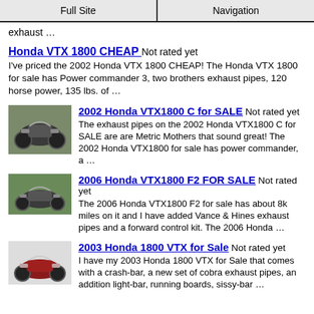Full Site | Navigation
exhaust …
Honda VTX 1800 CHEAP  Not rated yet
I've priced the 2002 Honda VTX 1800 CHEAP! The Honda VTX 1800 for sale has Power commander 3, two brothers exhaust pipes, 120 horse power, 135 lbs. of …
2002 Honda VTX1800 C for SALE  Not rated yet
The exhaust pipes on the 2002 Honda VTX1800 C for SALE are are Metric Mothers that sound great! The 2002 Honda VTX1800 for sale has power commander, a …
2006 Honda VTX1800 F2 FOR SALE  Not rated yet
The 2006 Honda VTX1800 F2 for sale has about 8k miles on it and I have added Vance & Hines exhaust pipes and a forward control kit. The 2006 Honda …
2003 Honda 1800 VTX for Sale  Not rated yet
I have my 2003 Honda 1800 VTX for Sale that comes with a crash-bar, a new set of cobra exhaust pipes, an addition light-bar, running boards, sissy-bar …